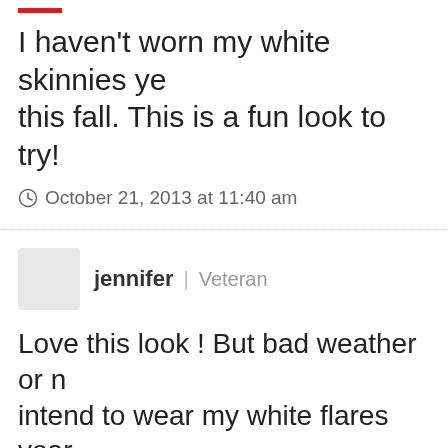I haven't worn my white skinnies yet this fall. This is a fun look to try!
October 21, 2013 at 11:40 am
jennifer | Veteran
Love this look ! But bad weather or not intend to wear my white flares year round(though not all month as I still have visits from "Aunt Flo" to look